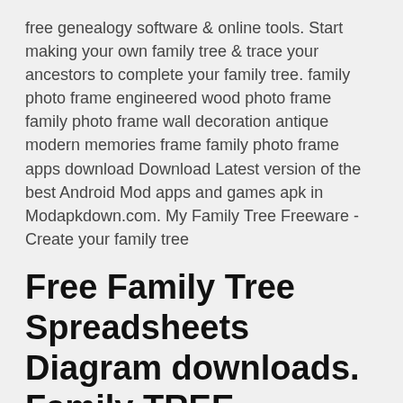free genealogy software & online tools. Start making your own family tree & trace your ancestors to complete your family tree. family photo frame engineered wood photo frame family photo frame wall decoration antique modern memories frame family photo frame apps download Download Latest version of the best Android Mod apps and games apk in Modapkdown.com. My Family Tree Freeware - Create your family tree
Free Family Tree Spreadsheets Diagram downloads. Family TREE Spreadsheets Diagram. Family Tree Genius. Family Tree Genius is the best cutting edge family tree software. You can use Family Tree